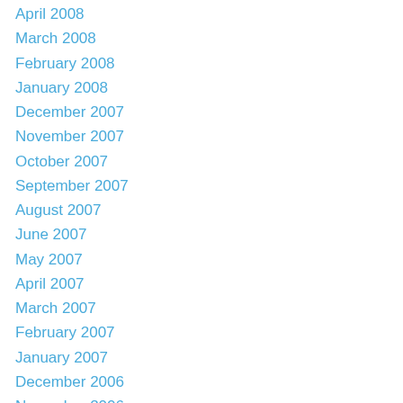April 2008
March 2008
February 2008
January 2008
December 2007
November 2007
October 2007
September 2007
August 2007
June 2007
May 2007
April 2007
March 2007
February 2007
January 2007
December 2006
November 2006
October 2006
May 2006
April 2006